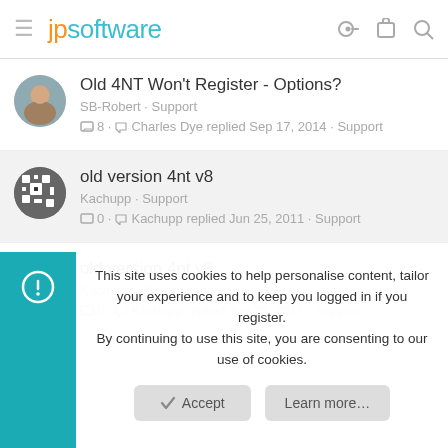jpsoftware
Old 4NT Won't Register - Options? — SB-Robert · Support — 8 · Charles Dye replied Sep 17, 2014 · Support
old version 4nt v8 — Kachupp · Support — 0 · Kachupp replied Jun 25, 2011 · Support
old version 4nt v8 — Kachupp · Support — 0 · Kachupp replied Jun 25, 2011 · Support
This site uses cookies to help personalise content, tailor your experience and to keep you logged in if you register. By continuing to use this site, you are consenting to our use of cookies.